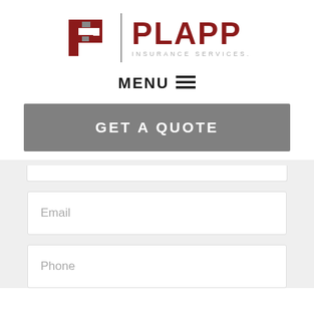[Figure (logo): Plapp Insurance Services logo with stylized P icon and vertical divider]
MENU ≡
GET A QUOTE
Email
Phone